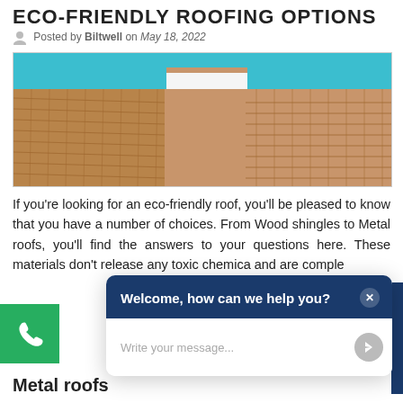ECO-FRIENDLY ROOFING OPTIONS
Posted by Biltwell on May 18, 2022
[Figure (photo): Aerial close-up photo of terracotta/clay tile roof with blue sky and white building chimney visible]
If you're looking for an eco-friendly roof, you'll be pleased to know that you have a number of choices. From Wood shingles to Metal roofs, you'll find the answers to your questions here. These materials don't release any toxic chemicals and are completely...
[Figure (screenshot): Chat widget popup with dark blue header saying 'Welcome, how can we help you?' and white message input area with placeholder 'Write your message...' and a send button]
Metal roofs